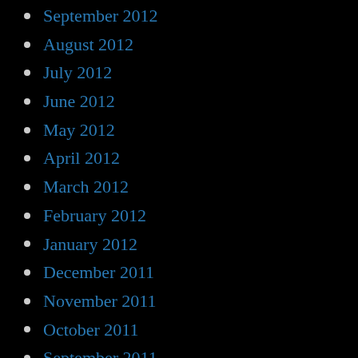September 2012
August 2012
July 2012
June 2012
May 2012
April 2012
March 2012
February 2012
January 2012
December 2011
November 2011
October 2011
September 2011
August 2011
July 2011
June 2011
May 2011